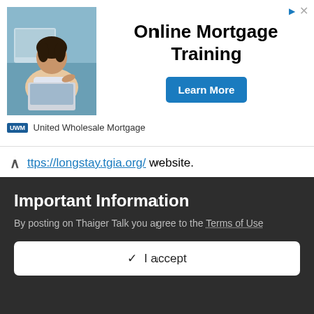[Figure (illustration): Advertisement banner for United Wholesale Mortgage showing a woman with a laptop, text 'Online Mortgage Training', a 'Learn More' button, and the United Wholesale Mortgage logo and brand name.]
ttps://longstay.tgia.org/ website.
The Non O is a short stay Visa.
I'm positive, an associate who entered Thailand on the Non O Visa in November last year used a standard UK travel insurance policy that met the requirements and was accepted.
Quote
Important Information
By posting on Thaiger Talk you agree to the Terms of Use
✓  I accept